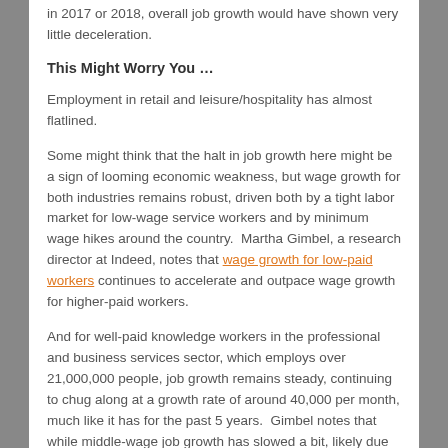in 2017 or 2018, overall job growth would have shown very little deceleration.
This Might Worry You …
Employment in retail and leisure/hospitality has almost flatlined.
Some might think that the halt in job growth here might be a sign of looming economic weakness, but wage growth for both industries remains robust, driven both by a tight labor market for low-wage service workers and by minimum wage hikes around the country.  Martha Gimbel, a research director at Indeed, notes that wage growth for low-paid workers continues to accelerate and outpace wage growth for higher-paid workers.
And for well-paid knowledge workers in the professional and business services sector, which employs over 21,000,000 people, job growth remains steady, continuing to chug along at a growth rate of around 40,000 per month, much like it has for the past 5 years.  Gimbel notes that while middle-wage job growth has slowed a bit, likely due to weakness in the global economy impacting the